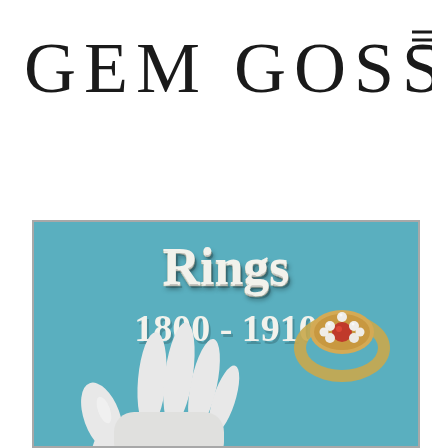[Figure (logo): GEM GOSSIP logo in large serif capitals with a hamburger menu icon to the right]
[Figure (illustration): Book cover image: teal/blue background with text 'Rings 1800-1910' in white serif font with shadow, a white ceramic hand in the lower left, and a gold ring with pearls and ruby in the upper right]